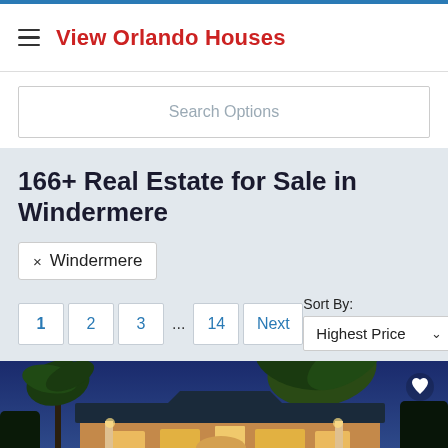View Orlando Houses
Search Options
166+ Real Estate for Sale in Windermere
× Windermere
1 2 3 ... 14 Next
Sort By: Highest Price
[Figure (photo): Night-time exterior photo of a large luxury house in Windermere with palm trees and warm lighting]